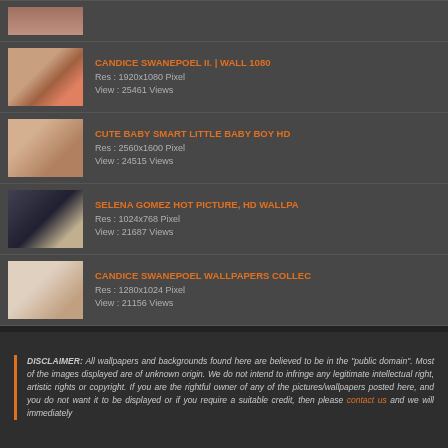[Figure (photo): Partial thumbnail of a photo (top portion cut off), female subject]
CANDICE SWANEPOEL II. | WALL 1080
Res : 1920x1080 Pixel
View : 25461 Views
CUTE BABY SMART LITTLE BABY BOY HD
Res : 2560x1600 Pixel
View : 24515 Views
SELENA GOMEZ HOT PICTURE, HD WALLPA
Res : 1024x768 Pixel
View : 21687 Views
CANDICE SWANEPOEL WALLPAPERS COLLEC
Res : 1280x1024 Pixel
View : 21156 Views
DISCLAIMER: All wallpapers and backgrounds found here are believed to be in the "public domain". Most of the images displayed are of unknown origin. We do not intend to infringe any legitimate intellectual right, artistic rights or copyright. If you are the rightful owner of any of the pictures/wallpapers posted here, and you do not want it to be displayed or if you require a suitable credit, then please contact us and we will immediately